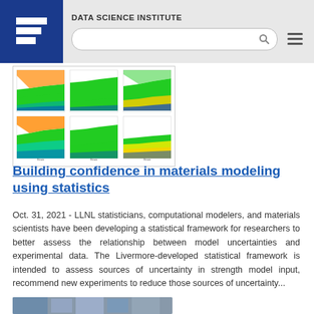DATA SCIENCE INSTITUTE
[Figure (other): Six small area/stacked charts arranged in a 2x3 grid, showing material modeling results with colored regions (green, orange, blue, yellow, cyan)]
Building confidence in materials modeling using statistics
Oct. 31, 2021 - LLNL statisticians, computational modelers, and materials scientists have been developing a statistical framework for researchers to better assess the relationship between model uncertainties and experimental data. The Livermore-developed statistical framework is intended to assess sources of uncertainty in strength model input, recommend new experiments to reduce those sources of uncertainty...
[Figure (photo): Thumbnail photo of people, partially visible at bottom of page]